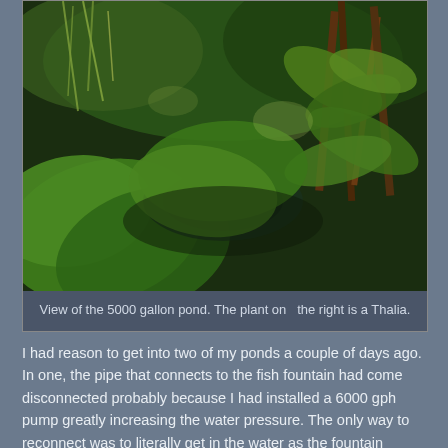[Figure (photo): Close-up view of a lush garden pond with large tropical leaves, green plants, Thalia on the right, and water visible beneath dense foliage.]
View of the 5000 gallon pond. The plant on  the right is a Thalia.
I had reason to get into two of my ponds a couple of days ago. In one, the pipe that connects to the fish fountain had come disconnected probably because I had installed a 6000 gph pump greatly increasing the water pressure. The only way to reconnect was to literally get in the water as the fountain stands in the middle of the pond.
The ponds plants have taken over because nothing died back following our frost free winter and also helped by the fact that I decided to let things grow. I have not done any pruning or cutting